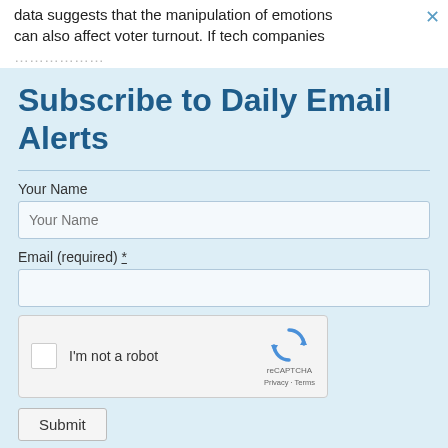data suggests that the manipulation of emotions can also affect voter turnout. If tech companies …
Subscribe to Daily Email Alerts
Your Name
Email (required) *
[Figure (other): reCAPTCHA widget with checkbox labeled 'I'm not a robot' and reCAPTCHA logo with Privacy and Terms links]
Submit
By submitting this form, you are consenting to receive marketing emails from: News With Views, P.O. Box 990, Spring Branch, TX, 78070-9998,